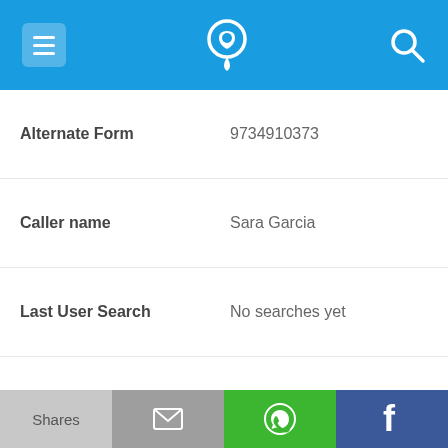App navigation bar with menu, phone/location icon, and search icon
| Field | Value |
| --- | --- |
| Alternate Form | 9734910373 |
| Caller name | Sara Garcia |
| Last User Search | No searches yet |
| Comments | 0 |
973-491-0663
| Field | Value |
| --- | --- |
| Alternate Form | 9734910663 |
| Caller name | Alejandro Murias |
Shares | [email icon] | [WhatsApp icon] | f